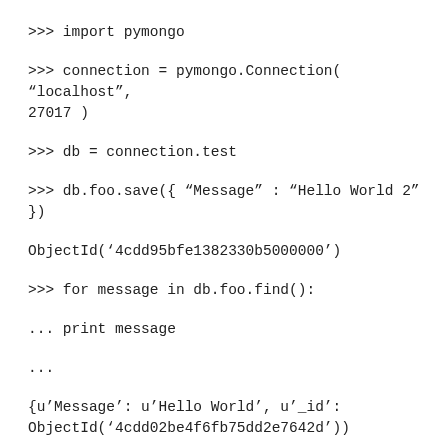>>> import pymongo
>>> connection = pymongo.Connection( “localhost”, 27017 )
>>> db = connection.test
>>> db.foo.save({ “Message” : “Hello World 2” })
ObjectId(‘4cdd95bfe1382330b5000000’)
>>> for message in db.foo.find():
... print message
...
{u’Message’: u’Hello World’, u’_id’:
ObjectId(‘4cdd02be4f6fb75dd2e7642d’))